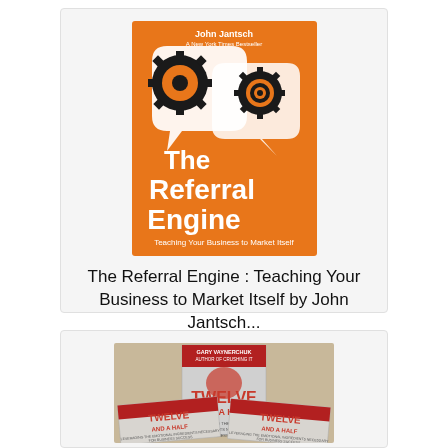[Figure (photo): Book cover of 'The Referral Engine: Teaching Your Business to Market Itself' by John Jantsch — orange cover with gear/cogwheel illustrations and speech bubble motif]
The Referral Engine : Teaching Your Business to Market Itself by John Jantsch...
0 bids
$0.99 USD
[Figure (photo): Photo of three copies of 'Twelve and a Half' book stacked/displayed on a table]